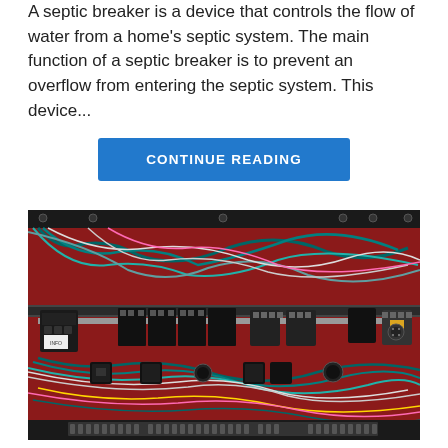A septic breaker is a device that controls the flow of water from a home's septic system. The main function of a septic breaker is to prevent an overflow from entering the septic system. This device...
CONTINUE READING
[Figure (photo): A close-up photograph of an electrical panel or control box interior, showing a red metal backplate with numerous multicolored wires (teal, white, red, yellow, pink) routed through cable trays, along with multiple black electrical components, terminal blocks, relays, and connectors mounted on a DIN rail.]